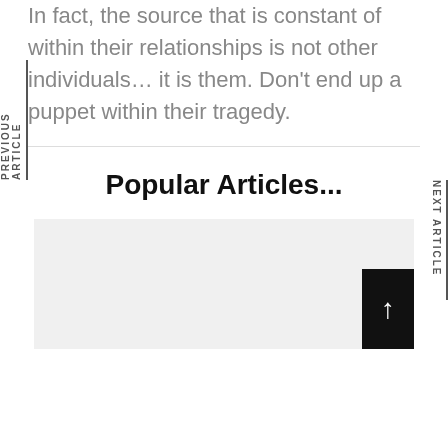In fact, the source that is constant of within their relationships is not other individuals… it is them. Don't end up a puppet within their tragedy.
Popular Articles...
[Figure (photo): Light gray placeholder image for an article thumbnail with a black scroll-to-top button in the bottom right corner.]